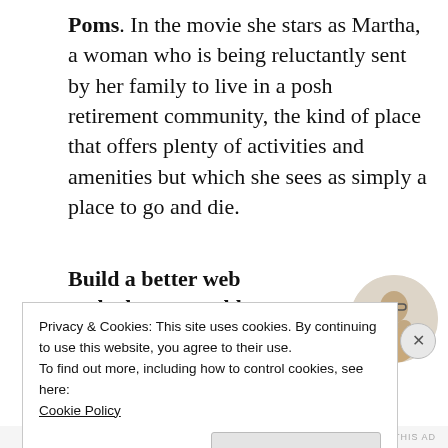Poms. In the movie she stars as Martha, a woman who is being reluctantly sent by her family to live in a posh retirement community, the kind of place that offers plenty of activities and amenities but which she sees as simply a place to go and die.
[Figure (other): Advertisement block with bold headline 'Build a better web and a better world.' and a blue Apply button, with a circular photo of a man on the right.]
Privacy & Cookies: This site uses cookies. By continuing to use this website, you agree to their use.
To find out more, including how to control cookies, see here:
Cookie Policy
Close and accept